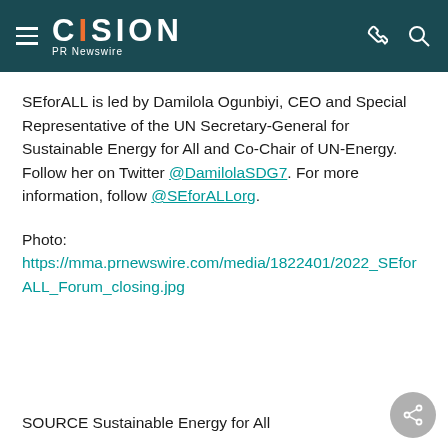CISION PR Newswire
SEforALL is led by Damilola Ogunbiyi, CEO and Special Representative of the UN Secretary-General for Sustainable Energy for All and Co-Chair of UN-Energy. Follow her on Twitter @DamilolaSDG7. For more information, follow @SEforALLorg.
Photo: https://mma.prnewswire.com/media/1822401/2022_SEforALL_Forum_closing.jpg
SOURCE Sustainable Energy for All